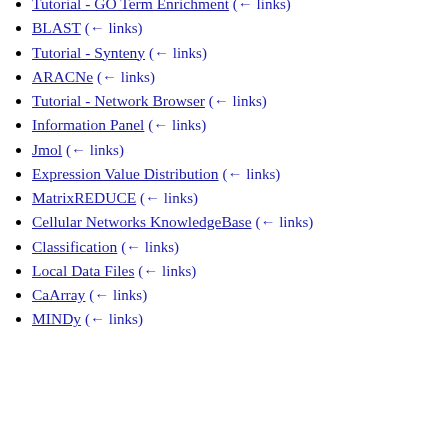Tutorial - GO Term Enrichment (← links)
BLAST (← links)
Tutorial - Synteny (← links)
ARACNe (← links)
Tutorial - Network Browser (← links)
Information Panel (← links)
Jmol (← links)
Expression Value Distribution (← links)
MatrixREDUCE (← links)
Cellular Networks KnowledgeBase (← links)
Classification (← links)
Local Data Files (← links)
CaArray (← links)
MINDy (← links)